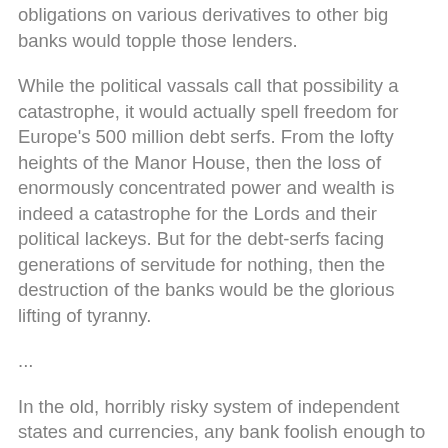obligations on various derivatives to other big banks would topple those lenders.
While the political vassals call that possibility a catastrophe, it would actually spell freedom for Europe's 500 million debt serfs. From the lofty heights of the Manor House, then the loss of enormously concentrated power and wealth is indeed a catastrophe for the Lords and their political lackeys. But for the debt-serfs facing generations of servitude for nothing, then the destruction of the banks would be the glorious lifting of tyranny.
...
In the old, horribly risky system of independent states and currencies, any bank foolish enough to loan vast sums to weak states and its citizenry would soon find the currency in which their loans were paid would weaken to the point that even if the loans were repaid in full, their losses would